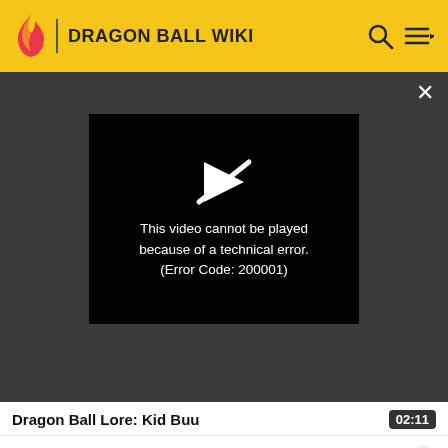DRAGON BALL WIKI
[Figure (screenshot): Video player showing error: 'This video cannot be played because of a technical error. (Error Code: 200001)']
Dragon Ball Lore: Kid Buu  02:11
Unknown, unfathomable power – Buu possess an odd ki signature that makes it hard to tell how stro… Buu really is. Whether Buu's power level is incredible, or not that much is unknown, even by Majin Buu [16]